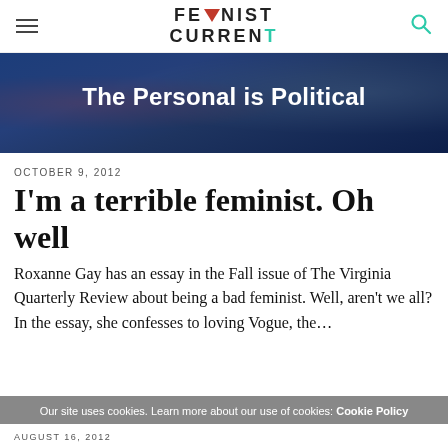FEMINIST CURRENT
[Figure (illustration): Dark blue banner image with text 'The Personal is Political' in white bold font over a blurred background showing a street scene]
The Personal is Political
OCTOBER 9, 2012
I'm a terrible feminist. Oh well
Roxanne Gay has an essay in the Fall issue of The Virginia Quarterly Review about being a bad feminist. Well, aren't we all? In the essay, she confesses to loving Vogue, the…
Our site uses cookies. Learn more about our use of cookies: Cookie Policy
AUGUST 16, 2012